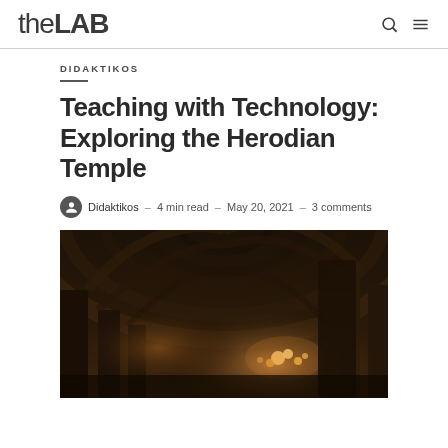theLAB
DIDAKTIKOS
Teaching with Technology: Exploring the Herodian Temple
Didaktikos – 4 min read – May 20, 2021 – 3 comments
[Figure (photo): Interior of a gothic cathedral or ancient temple with arched stone vaulting, dark warm lighting with candles or lights illuminating columns]